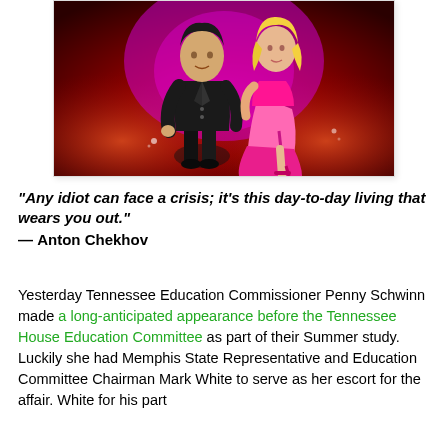[Figure (illustration): Cartoon illustration of two figures: a man in a black suit and a woman in a pink dress, posed together against a dramatic red/purple glowing background]
“Any idiot can face a crisis; it’s this day-to-day living that wears you out.”
— Anton Chekhov
Yesterday Tennessee Education Commissioner Penny Schwinn made a long-anticipated appearance before the Tennessee House Education Committee as part of their Summer study. Luckily she had Memphis State Representative and Education Committee Chairman Mark White to serve as her escort for the affair. White for his part